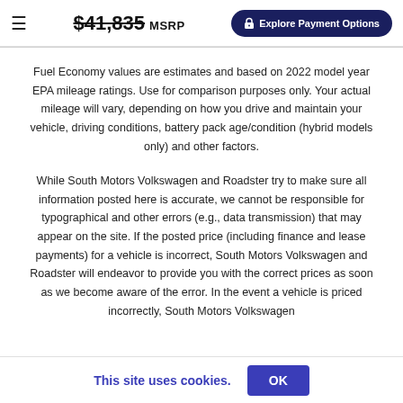$41,835 MSRP | Explore Payment Options
Fuel Economy values are estimates and based on 2022 model year EPA mileage ratings. Use for comparison purposes only. Your actual mileage will vary, depending on how you drive and maintain your vehicle, driving conditions, battery pack age/condition (hybrid models only) and other factors.
While South Motors Volkswagen and Roadster try to make sure all information posted here is accurate, we cannot be responsible for typographical and other errors (e.g., data transmission) that may appear on the site. If the posted price (including finance and lease payments) for a vehicle is incorrect, South Motors Volkswagen and Roadster will endeavor to provide you with the correct prices as soon as we become aware of the error. In the event a vehicle is priced incorrectly, South Motors Volkswagen
This site uses cookies. OK